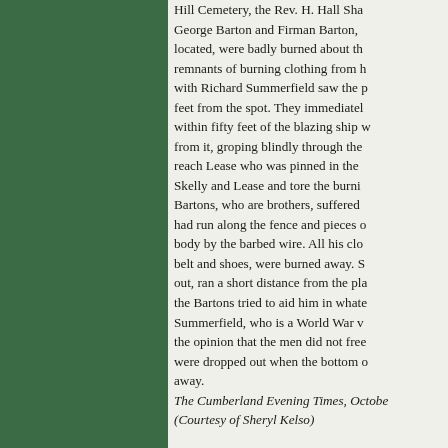Hill Cemetery, the Rev. H. Hall Sha George Barton and Firman Barton, located, were badly burned about th remnants of burning clothing from h with Richard Summerfield saw the p feet from the spot. They immediatel within fifty feet of the blazing ship w from it, groping blindly through the reach Lease who was pinned in the Skelly and Lease and tore the burni Bartons, who are brothers, suffered had run along the fence and pieces body by the barbed wire. All his clo belt and shoes, were burned away. S out, ran a short distance from the pla the Bartons tried to aid him in whate Summerfield, who is a World War v the opinion that the men did not free were dropped out when the bottom away.
The Cumberland Evening Times, Octobe (Courtesy of Sheryl Kelso)